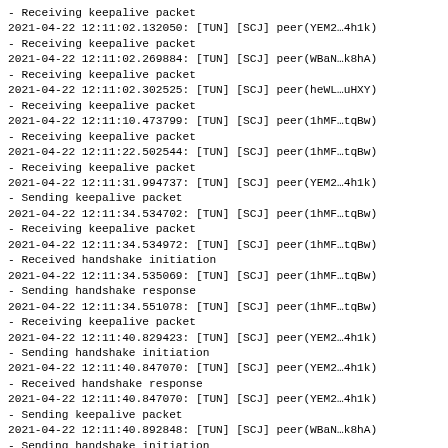- Receiving keepalive packet
2021-04-22 12:11:02.132050: [TUN] [SCJ] peer(YEM2…4h1k)
- Receiving keepalive packet
2021-04-22 12:11:02.269884: [TUN] [SCJ] peer(WBaN…k8hA)
- Receiving keepalive packet
2021-04-22 12:11:02.302525: [TUN] [SCJ] peer(heWL…uHXY)
- Receiving keepalive packet
2021-04-22 12:11:10.473799: [TUN] [SCJ] peer(1hMF…tqBw)
- Receiving keepalive packet
2021-04-22 12:11:22.502544: [TUN] [SCJ] peer(1hMF…tqBw)
- Receiving keepalive packet
2021-04-22 12:11:31.994737: [TUN] [SCJ] peer(YEM2…4h1k)
- Sending keepalive packet
2021-04-22 12:11:34.534702: [TUN] [SCJ] peer(1hMF…tqBw)
- Receiving keepalive packet
2021-04-22 12:11:34.534972: [TUN] [SCJ] peer(1hMF…tqBw)
- Received handshake initiation
2021-04-22 12:11:34.535069: [TUN] [SCJ] peer(1hMF…tqBw)
- Sending handshake response
2021-04-22 12:11:34.551078: [TUN] [SCJ] peer(1hMF…tqBw)
- Receiving keepalive packet
2021-04-22 12:11:40.829423: [TUN] [SCJ] peer(YEM2…4h1k)
- Sending handshake initiation
2021-04-22 12:11:40.847070: [TUN] [SCJ] peer(YEM2…4h1k)
- Received handshake response
2021-04-22 12:11:40.847070: [TUN] [SCJ] peer(YEM2…4h1k)
- Sending keepalive packet
2021-04-22 12:11:40.892848: [TUN] [SCJ] peer(WBaN…k8hA)
- Sending handshake initiation
2021-04-22 12:11:40.923643: [TUN] [SCJ] peer(WBaN…k8hA)